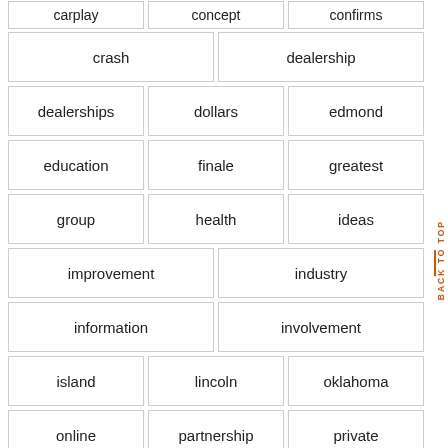| carplay | concept | confirms |
| crash | dealership |
| dealerships | dollars | edmond |
| education | finale | greatest |
| group | health | ideas |
| improvement | industry |
| information | involvement |
| island | lincoln | oklahoma |
| online | partnership | private |
| repair | restore | rhode |
| sales | serving | ships |